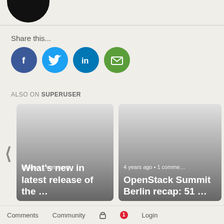[Figure (illustration): Partial black circular avatar at top left]
Share this...
[Figure (illustration): Social sharing icons: Facebook (blue circle with f), Twitter (light blue circle with bird), LinkedIn (blue circle with in), Email (green circle with envelope)]
ALSO ON SUPERUSER
[Figure (screenshot): Two article cards side by side. Left card: '...rs ago • 1 comment' / 'What's new in latest release of the ...' Right card: '4 years ago • 1 comme...' / 'OpenStack Summit Berlin recap: 51 ...' with left/right navigation arrows.]
Comments   Community   (lock icon)   1   Login